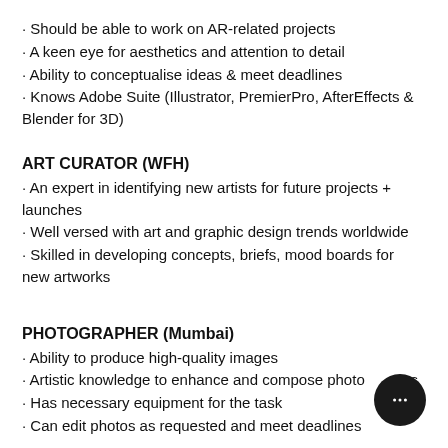Should be able to work on AR-related projects
A keen eye for aesthetics and attention to detail
Ability to conceptualise ideas & meet deadlines
Knows Adobe Suite (Illustrator, PremierPro, AfterEffects & Blender for 3D)
ART CURATOR (WFH)
An expert in identifying new artists for future projects + launches
Well versed with art and graphic design trends worldwide
Skilled in developing concepts, briefs, mood boards for new artworks
PHOTOGRAPHER (Mumbai)
Ability to produce high-quality images
Artistic knowledge to enhance and compose photographs
Has necessary equipment for the task
Can edit photos as requested and meet deadlines